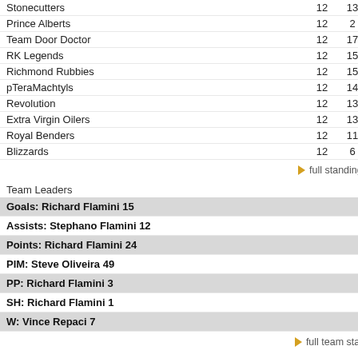| Team | GP | PTS |
| --- | --- | --- |
| Stonecutters | 12 | 13 |
| Prince Alberts | 12 | 2 |
| Team Door Doctor | 12 | 17 |
| RK Legends | 12 | 15 |
| Richmond Rubbies | 12 | 15 |
| pTeraMachtyls | 12 | 14 |
| Revolution | 12 | 13 |
| Extra Virgin Oilers | 12 | 13 |
| Royal Benders | 12 | 11 |
| Blizzards | 12 | 6 |
full standings
Team Leaders
Goals: Richard Flamini 15
Assists: Stephano Flamini 12
Points: Richard Flamini 24
PIM: Steve Oliveira 49
PP: Richard Flamini 3
SH: Richard Flamini 1
W: Vince Repaci 7
full team stats
| Construction Crew 4 |  |
| The Rookies 6 |  |
| Construction Crew 2 |  |
| Vandelay Industries 3 |  |
| Construction Crew 4 |  |
| The Rookies 2 |  |